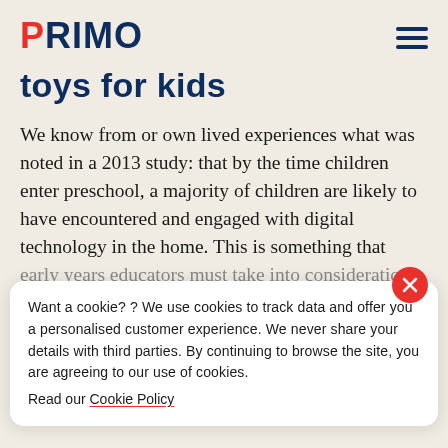PRIMO
toys for kids
We know from or own lived experiences what was noted in a 2013 study: that by the time children enter preschool, a majority of children are likely to have encountered and engaged with digital technology in the home. This is something that early years educators must take into consideration
Want a cookie?? We use cookies to track data and offer you a personalised customer experience. We never share your details with third parties. By continuing to browse the site, you are agreeing to our use of cookies. Read our Cookie Policy